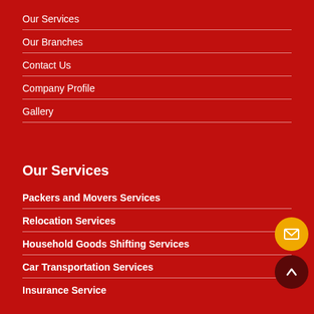Our Services
Our Branches
Contact Us
Company Profile
Gallery
Our Services
Packers and Movers Services
Relocation Services
Household Goods Shifting Services
Car Transportation Services
Insurance Service